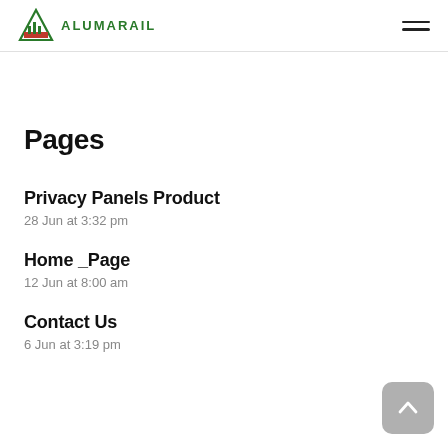ALUMARAIL
Pages
Privacy Panels Product
28 Jun at 3:32 pm
Home _Page
12 Jun at 8:00 am
Contact Us
6 Jun at 3:19 pm